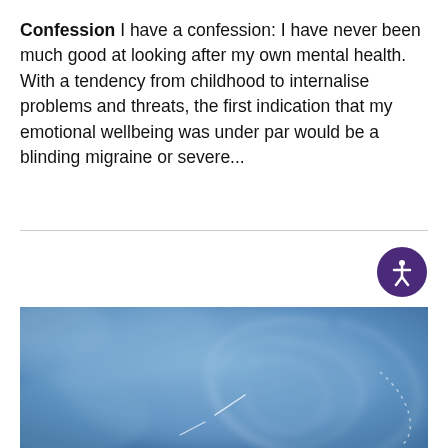Confession I have a confession: I have never been much good at looking after my own mental health. With a tendency from childhood to internalise problems and threats, the first indication that my emotional wellbeing was under par would be a blinding migraine or severe...
[Figure (photo): Aerial photograph showing smoke trails or contrails in a blue sky forming spiral and curved loop patterns, viewed from above.]